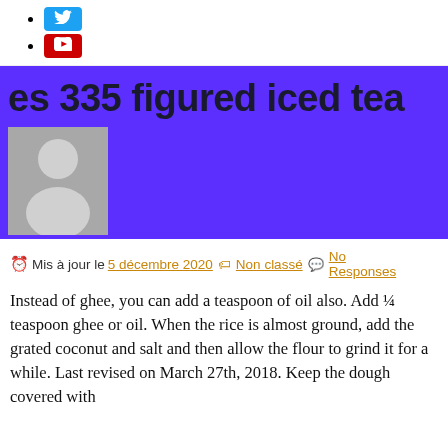Twitter
YouTube
es 335 figured iced tea
[Figure (photo): Author avatar placeholder: gray background with white silhouette of a person]
Mis à jour le 5 décembre 2020  Non classé  No Responses
Instead of ghee, you can add a teaspoon of oil also. Add ¼ teaspoon ghee or oil. When the rice is almost ground, add the grated coconut and salt and then allow the flour to grind it for a while. Last revised on March 27th, 2018. Keep the dough covered with